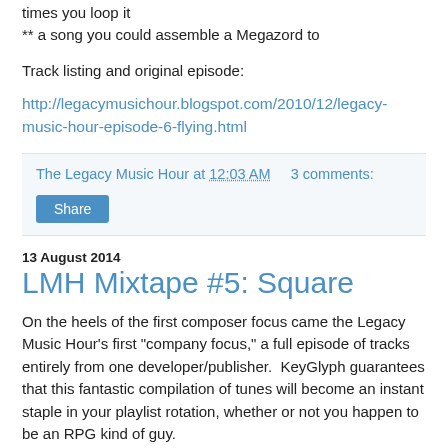times you loop it
** a song you could assemble a Megazord to
Track listing and original episode:
http://legacymusichour.blogspot.com/2010/12/legacy-music-hour-episode-6-flying.html
The Legacy Music Hour at 12:03 AM    3 comments:
Share
13 August 2014
LMH Mixtape #5: Square
On the heels of the first composer focus came the Legacy Music Hour's first "company focus," a full episode of tracks entirely from one developer/publisher.  KeyGlyph guarantees that this fantastic compilation of tunes will become an instant staple in your playlist rotation, whether or not you happen to be an RPG kind of guy.